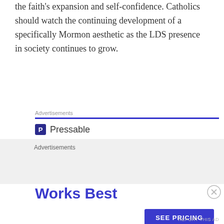the faith's expansion and self-confidence. Catholics should watch the continuing development of a specifically Mormon aesthetic as the LDS presence in society continues to grow.
Advertisements
[Figure (screenshot): Pressable advertisement banner. Shows Pressable logo (dark blue square with 'P'), dots row, headline 'The Platform Where WordPress Works Best' in dark navy and blue, and a 'SEE PRICING' button in blue.]
Advertisements
REPORT THIS AD